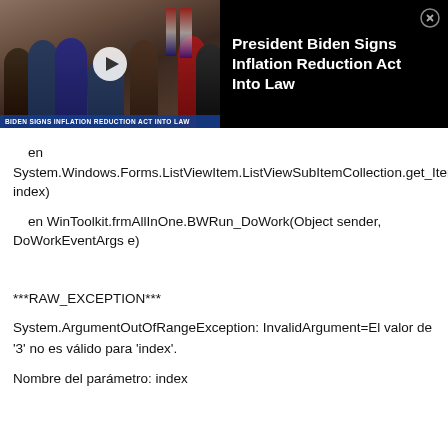[Figure (screenshot): Video thumbnail showing President Biden signing a document surrounded by officials, with a news lower-third ticker reading 'BIDEN SIGNS INFLATION REDUCTION ACT INTO LAW'. To the right of the thumbnail on a black background is the title 'President Biden Signs Inflation Reduction Act Into Law' with a close button (X) in the top-right corner.]
en System.Windows.Forms.ListViewItem.ListViewSubItemCollection.get_Item(Int32 index)
en WinToolkit.frmAllInOne.BWRun_DoWork(Object sender, DoWorkEventArgs e)
***RAW_EXCEPTION***
System.ArgumentOutOfRangeException: InvalidArgument=El valor de '3' no es válido para 'index'.
Nombre del parámetro: index